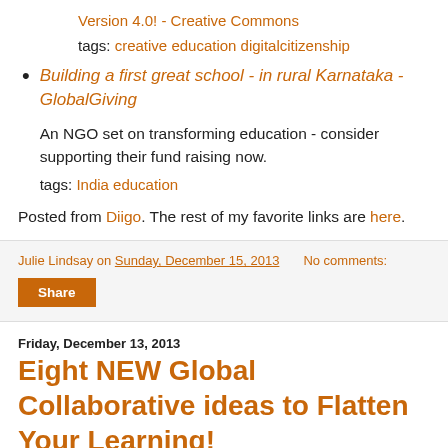Version 4.0! - Creative Commons
tags: creative education digitalcitizenship
Building a first great school - in rural Karnataka - GlobalGiving
An NGO set on transforming education - consider supporting their fund raising now.
tags: India education
Posted from Diigo. The rest of my favorite links are here.
Julie Lindsay on Sunday, December 15, 2013  No comments:
Share
Friday, December 13, 2013
Eight NEW Global Collaborative ideas to Flatten Your Learning!